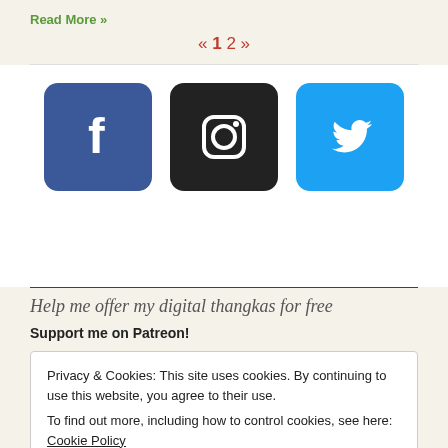Read More »
« 1 2 »
[Figure (illustration): Three social media icons: Facebook (blue rounded square with 'f'), Instagram (dark rounded square with camera icon), Twitter (light blue rounded square with bird icon)]
Help me offer my digital thangkas for free
Support me on Patreon!
Privacy & Cookies: This site uses cookies. By continuing to use this website, you agree to their use. To find out more, including how to control cookies, see here: Cookie Policy
Close and accept